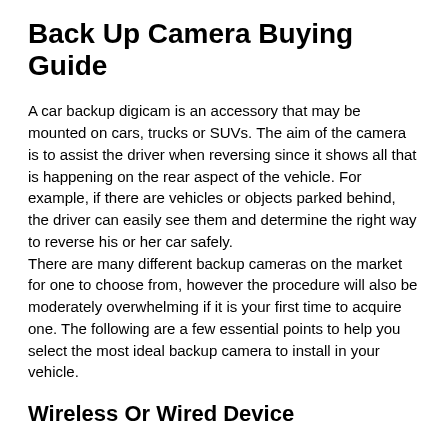Back Up Camera Buying Guide
A car backup digicam is an accessory that may be mounted on cars, trucks or SUVs. The aim of the camera is to assist the driver when reversing since it shows all that is happening on the rear aspect of the vehicle. For example, if there are vehicles or objects parked behind, the driver can easily see them and determine the right way to reverse his or her car safely.
There are many different backup cameras on the market for one to choose from, however the procedure will also be moderately overwhelming if it is your first time to acquire one. The following are a few essential points to help you select the most ideal backup camera to install in your vehicle.
Wireless Or Wired Device